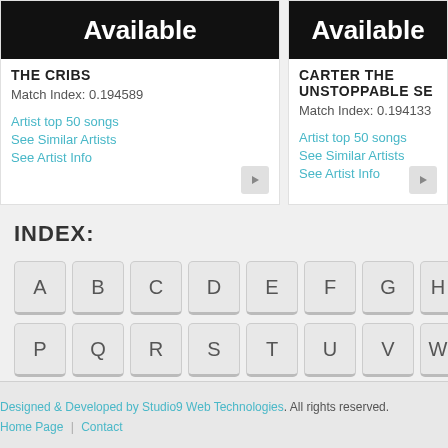[Figure (screenshot): Artist card for THE CRIBS showing Available banner, match index 0.194589, and links]
[Figure (screenshot): Artist card for CARTER THE UNSTOPPABLE SE showing Available banner, match index 0.194133, and links]
INDEX:
A B C D E F G H ... P Q R S T U V W
Designed & Developed by Studio9 Web Technologies. All rights reserved. Home Page | Contact